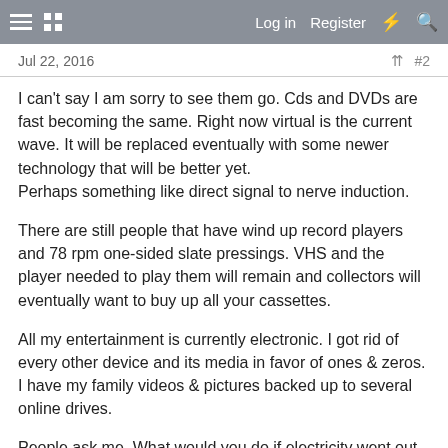Log in   Register
Jul 22, 2016    #2
I can't say I am sorry to see them go. Cds and DVDs are fast becoming the same. Right now virtual is the current wave. It will be replaced eventually with some newer technology that will be better yet.
Perhaps something like direct signal to nerve induction.
There are still people that have wind up record players and 78 rpm one-sided slate pressings. VHS and the player needed to play them will remain and collectors will eventually want to buy up all your cassettes.
All my entertainment is currently electronic. I got rid of every other device and its media in favor of ones & zeros. I have my family videos & pictures backed up to several online drives.
People ask me, What would you do if electricity went out or electronics everywhere were rendered useless. My